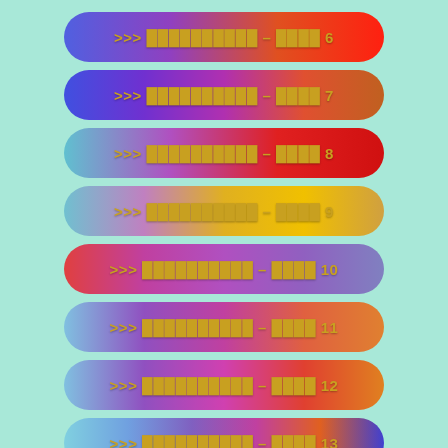>>> ■■■■■■■■■■ – ■■■■ 6
>>> ■■■■■■■■■■ – ■■■■ 7
>>> ■■■■■■■■■■ – ■■■■ 8
>>> ■■■■■■■■■■ – ■■■■ 9
>>> ■■■■■■■■■■ – ■■■■ 10
>>> ■■■■■■■■■■ – ■■■■ 11
>>> ■■■■■■■■■■ – ■■■■ 12
>>> ■■■■■■■■■■ – ■■■■ 13